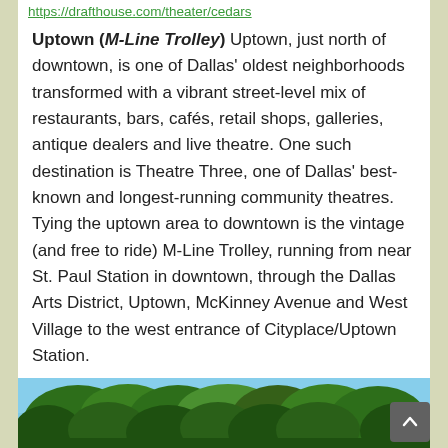https://drafthouse.com/theater/cedars
Uptown (M-Line Trolley) Uptown, just north of downtown, is one of Dallas' oldest neighborhoods transformed with a vibrant street-level mix of restaurants, bars, cafés, retail shops, galleries, antique dealers and live theatre. One such destination is Theatre Three, one of Dallas' best-known and longest-running community theatres. Tying the uptown area to downtown is the vintage (and free to ride) M-Line Trolley, running from near St. Paul Station in downtown, through the Dallas Arts District, Uptown, McKinney Avenue and West Village to the west entrance of Cityplace/Uptown Station.
Uptown Dallas http://www.uptowndallas.net/
M-Line Trolley https://www.dart.org/riding/mline.asp
Theatre Three http://theatre3dallas.com/
[Figure (photo): Outdoor photo showing trees with green foliage against a blue sky, partial view at bottom of page]